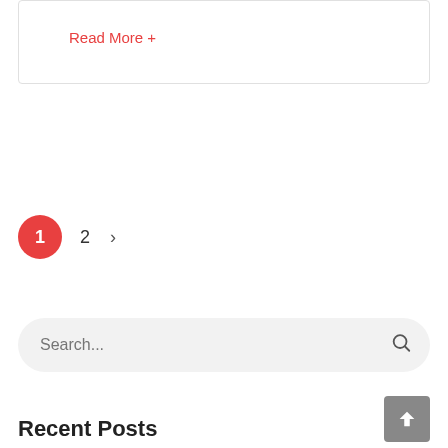Read More +
1  2  >
Search...
Recent Posts